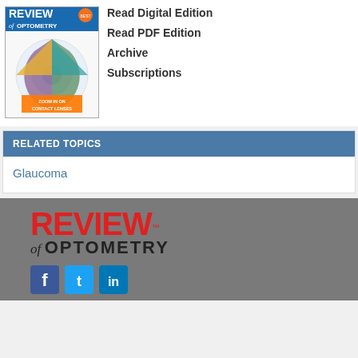[Figure (photo): Review of Optometry magazine cover showing 'Zoom In On Contact Lenses' with colorful circular design]
Read Digital Edition
Read PDF Edition
Archive
Subscriptions
RELATED TOPICS
Glaucoma
[Figure (logo): Review of Optometry logo in footer — red REVIEW text, italic 'of', bold OPTOMETRY]
[Figure (infographic): Social media icons: Facebook, Twitter, LinkedIn]